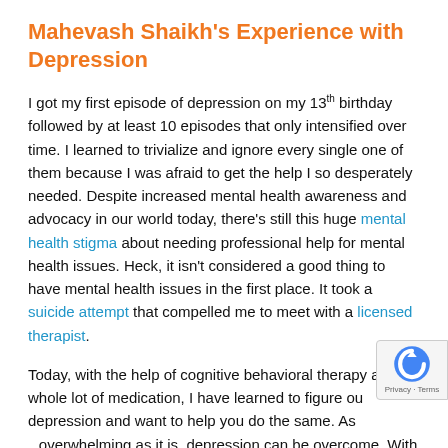Mahevash Shaikh's Experience with Depression
I got my first episode of depression on my 13th birthday followed by at least 10 episodes that only intensified over time. I learned to trivialize and ignore every single one of them because I was afraid to get the help I so desperately needed. Despite increased mental health awareness and advocacy in our world today, there's still this huge mental health stigma about needing professional help for mental health issues. Heck, it isn't considered a good thing to have mental health issues in the first place. It took a suicide attempt that compelled me to meet with a licensed therapist.
Today, with the help of cognitive behavioral therapy and a whole lot of medication, I have learned to figure out depression and want to help you do the same. As overwhelming as it is, depression can be overcome. With